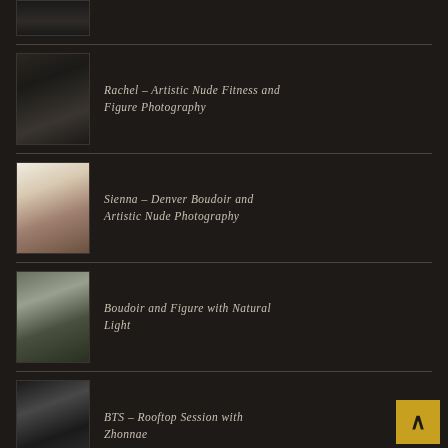[Figure (photo): Partial black and white thumbnail of a figure at top of page]
Rachel – Artistic Nude Fitness and Figure Photography
Sienna – Denver Boudoir and Artistic Nude Photography
Boudoir and Figure with Natural Light
BTS – Rooftop Session with Zhonnae
Creative Nude Figure – Heather